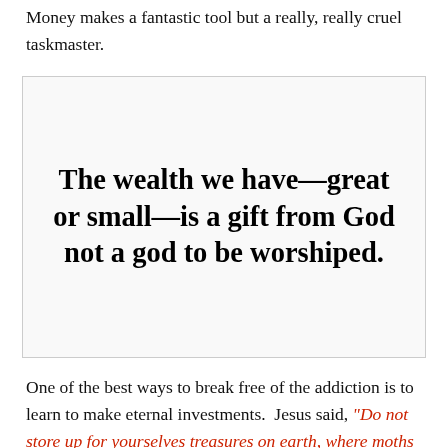Money makes a fantastic tool but a really, really cruel taskmaster.
[Figure (other): Pull quote box with bold serif text: 'The wealth we have—great or small—is a gift from God not a god to be worshiped.']
One of the best ways to break free of the addiction is to learn to make eternal investments. Jesus said, "Do not store up for yourselves treasures on earth, where moths and vermin destroy, and where thieves break in